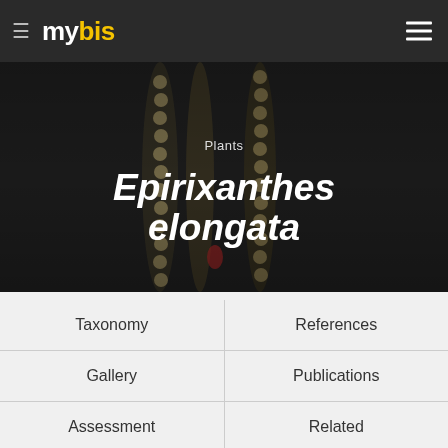mybis
[Figure (photo): Dark background photo of a plant (Epirixanthes elongata) with hanging bead-like structures, with overlaid text showing 'Plants' and 'Epirixanthes elongata']
Epirixanthes elongata
Plants
Taxonomy
References
Gallery
Publications
Assessment
Related
Experts